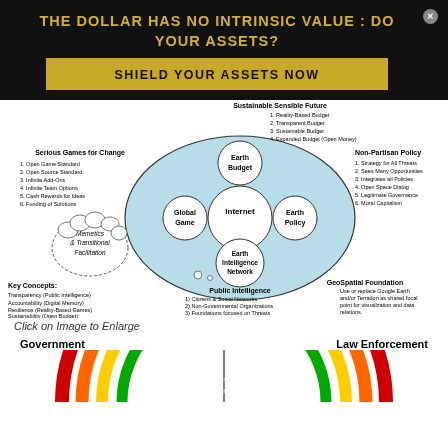THE DOLLAR HAS NO INTRINSIC VALUE : DO YOUR ASSETS?
SHIELD YOUR ASSETS NOW
[Figure (infographic): Circular diagram showing Internet at center connected to EarthBudget, GlobalGame, EarthPolicy, and Earth Intelligence Network nodes inside a large ellipse. Surrounding annotations: Sustainable Sensible Future (Reality-Based Budget, Transparent Budget, Sustainable Budget, Expanded Budget (Open Money)), Non-Partisan Policy (Strategy for All Threats, Sees Many Opportunities, Integrates all Policies, Open Space Dialog, Legitimate Governance, Moral Capitalism), Serious Games for Change (Open Game Standard, Open Source Standard, Infinite Add-Ons, Infinite Team Options, Cash Rewards for Ideas, Funding of Solutions), Memetics & Transitional Facilitation (cloud shape), Key Concepts: Transparency (Public Intelligence), Accountability (Digital Memory), Resilience (Reality-Based Games), Sustainability (Open Budget), Profit (Serve Global Commerce), Public Intelligence (Citizens & Social Networks, Non-Governmental Organizations, Foundations focused on Threats, Governments & Corporations), GeoSpatial Foundation (Use or replace Google Earth and/or Terradon as shared focal point for visualization and data relations).]
Click on Image to Enlarge
[Figure (infographic): Partial semicircle chart at bottom showing concentric colored arcs (red, orange, yellow, green) labeled Government on the left and Law Enforcement on the right, with text Secret Shared and Active Shared visible on the arcs.]